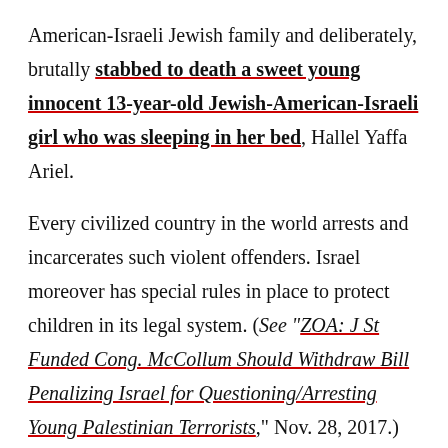American-Israeli Jewish family and deliberately, brutally stabbed to death a sweet young innocent 13-year-old Jewish-American-Israeli girl who was sleeping in her bed, Hallel Yaffa Ariel.
Every civilized country in the world arrests and incarcerates such violent offenders. Israel moreover has special rules in place to protect children in its legal system. (See "ZOA: J St Funded Cong. McCollum Should Withdraw Bill Penalizing Israel for Questioning/Arresting Young Palestinian Terrorists," Nov. 28, 2017.)